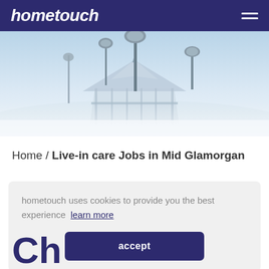hometouch
[Figure (photo): Scenic outdoor photo showing a Victorian bandstand/gazebo structure with ornate lamp posts against a misty, pale blue sky background]
Home / Live-in care Jobs in Mid Glamorgan
hometouch uses cookies to provide you the best experience  learn more
accept
Ch...